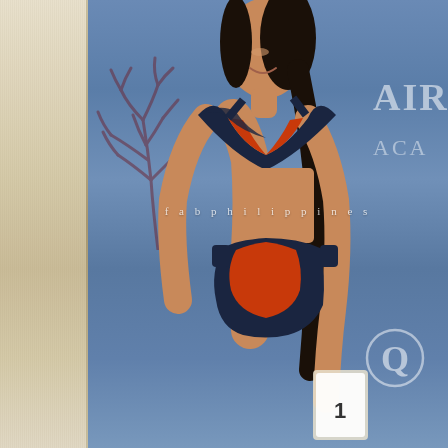[Figure (photo): A woman wearing a navy and orange bikini poses on a stage runway. She has long dark hair pulled back, is smiling, and stands in a three-quarter profile pose. The background is blue with decorative branch/coral motifs and partial text reading 'AIR' and 'ACA'. A watermark reading 'fabphilippines' is overlaid in the center. The left side of the image has a beige/tan textured border panel.]